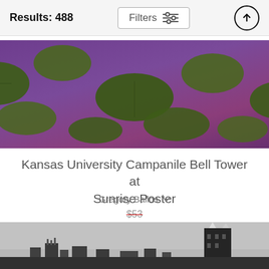Results: 488
[Figure (photo): Aerial view of lily pads with purple-tinted water, colorful overhead photograph]
Kansas University Campanile Bell Tower at Sunrise Poster
Gregory Ballos
$53 (strikethrough) $42
[Figure (photo): Black and white photo of Kansas University Campanile Bell Tower skyline]